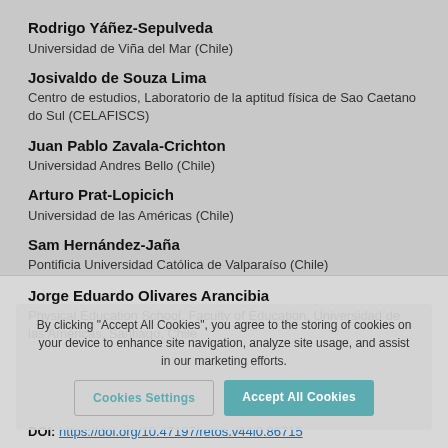Rodrigo Yáñez-Sepulveda
Universidad de Viña del Mar (Chile)
Josivaldo de Souza Lima
Centro de estudios, Laboratorio de la aptitud física de Sao Caetano do Sul (CELAFISCS)
Juan Pablo Zavala-Crichton
Universidad Andres Bello (Chile)
Arturo Prat-Lopicich
Universidad de las Américas (Chile)
Sam Hernández-Jaña
Pontificia Universidad Católica de Valparaíso (Chile)
Jorge Eduardo Olivares Arancibia
Physical Education School, Faculty of Education, Universidad de las Américas, Santiago, Chile
By clicking "Accept All Cookies", you agree to the storing of cookies on your device to enhance site navigation, analyze site usage, and assist in our marketing efforts.
Cookies Settings   Accept All Cookies
DOI: https://doi.org/10.47197/retos.v44i0.86715
Palabras clave: rendimiento, aeróbico, intensidad